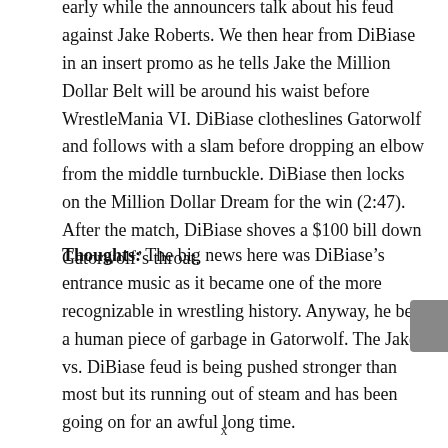early while the announcers talk about his feud against Jake Roberts. We then hear from DiBiase in an insert promo as he tells Jake the Million Dollar Belt will be around his waist before WrestleMania VI. DiBiase clotheslines Gatorwolf and follows with a slam before dropping an elbow from the middle turnbuckle. DiBiase then locks on the Million Dollar Dream for the win (2:47). After the match, DiBiase shoves a $100 bill down Gatorwolf’s throat.
Thoughts: The big news here was DiBiase’s entrance music as it became one of the more recognizable in wrestling history. Anyway, he beat a human piece of garbage in Gatorwolf. The Jake vs. DiBiase feud is being pushed stronger than most but its running out of steam and has been going on for an awful long time.
x